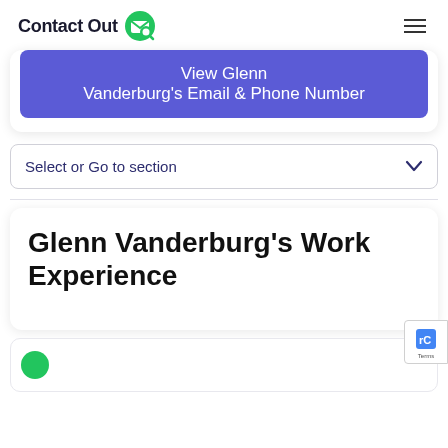Contact Out
View Glenn Vanderburg's Email & Phone Number
Select or Go to section
Glenn Vanderburg's Work Experience